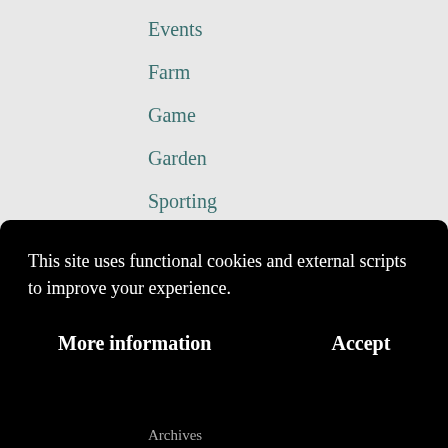Events
Farm
Game
Garden
Sporting
Teasses Estate
Teasses Recipes
Uncategorized
This site uses functional cookies and external scripts to improve your experience.
More information
Accept
Archives